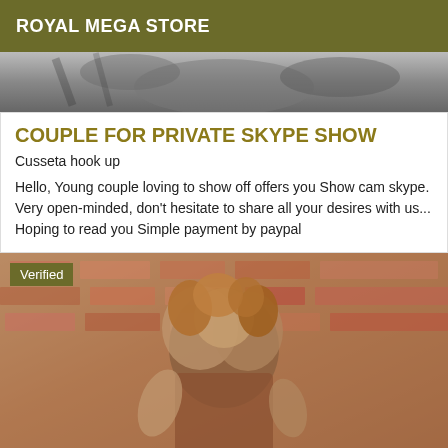ROYAL MEGA STORE
[Figure (photo): Grayscale photo of a couple, upper portion cropped]
COUPLE FOR PRIVATE SKYPE SHOW
Cusseta hook up
Hello, Young couple loving to show off offers you Show cam skype. Very open-minded, don't hesitate to share all your desires with us... Hoping to read you Simple payment by paypal
[Figure (photo): Photo of a woman with curly blonde hair posing in front of a brick wall. A 'Verified' badge is overlaid in the upper left corner.]